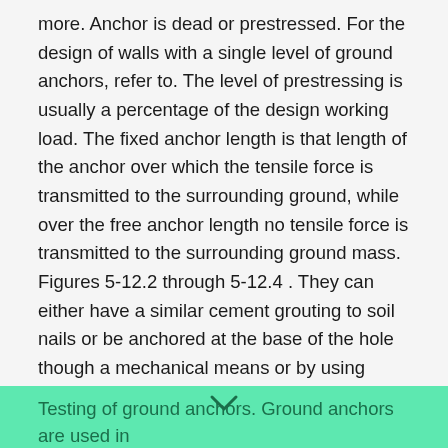more. Anchor is dead or prestressed. For the design of walls with a single level of ground anchors, refer to. The level of prestressing is usually a percentage of the design working load. The fixed anchor length is that length of the anchor over which the tensile force is transmitted to the surrounding ground, while over the free anchor length no tensile force is transmitted to the surrounding ground mass. Figures 5-12.2 through 5-12.4 . They can either have a similar cement grouting to soil nails or be anchored at the base of the hole though a mechanical means or by using resin. This type of anchor is used in with clay strata. temporary – removed as the work is completed, up to two years from installation date. These are made using either bars or strands and are inserted into ... Find the value of the void ratio in soil sample.
Testing of ground anchors. Ground anchors are used in